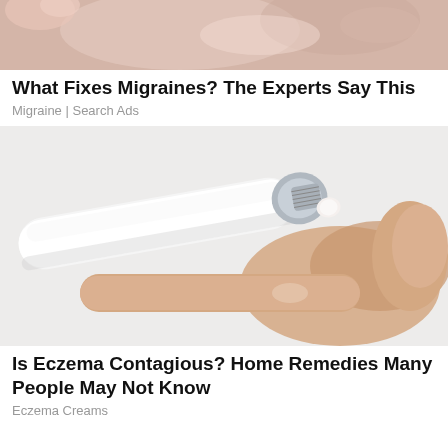[Figure (photo): Close-up of a person applying cream or product to their face, with a pink/flesh-toned skin texture visible]
What Fixes Migraines? The Experts Say This
Migraine | Search Ads
[Figure (photo): A hand holding a white tube of cream or ointment, squeezing a small amount of white product onto a finger, close-up product shot with light gray background]
Is Eczema Contagious? Home Remedies Many People May Not Know
Eczema Creams